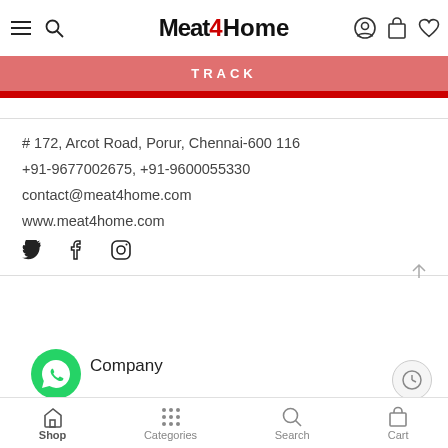Meat4Home — header with menu, search, account, bag, wishlist icons
TRACK
# 172, Arcot Road, Porur, Chennai-600 116
+91-9677002675, +91-9600055330
contact@meat4home.com
www.meat4home.com
[Figure (illustration): Social media icons: Twitter bird, Facebook f, Instagram camera]
Company
[Figure (illustration): WhatsApp green circle icon]
Opening Time
Shop  Categories  Search  Cart — bottom navigation bar